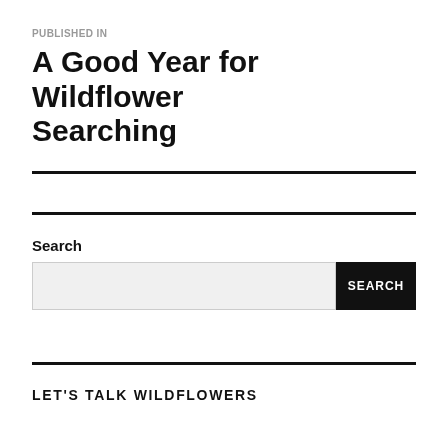PUBLISHED IN
A Good Year for Wildflower Searching
Search
LET'S TALK WILDFLOWERS